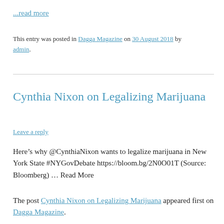...read more
This entry was posted in Dagga Magazine on 30 August 2018 by admin.
Cynthia Nixon on Legalizing Marijuana
Leave a reply
Here’s why @CynthiaNixon wants to legalize marijuana in New York State #NYGovDebate https://bloom.bg/2N0O01T (Source: Bloomberg) … Read More
The post Cynthia Nixon on Legalizing Marijuana appeared first on Dagga Magazine.